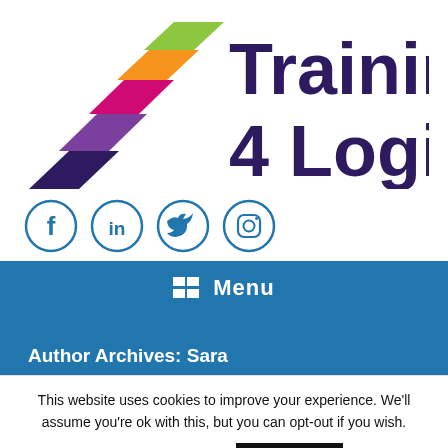[Figure (logo): Training 4 Logistics logo with colorful diagonal chevrons (green, orange, pink, purple, dark purple) and text 'Training 4 Logistics' in dark purple]
[Figure (infographic): Four social media icons in blue circles: Facebook (f), LinkedIn (in), Twitter (bird), Instagram (camera)]
Menu
Author Archives: Sara
This website uses cookies to improve your experience. We'll assume you're ok with this, but you can opt-out if you wish.
Cookie settings
ACCEPT